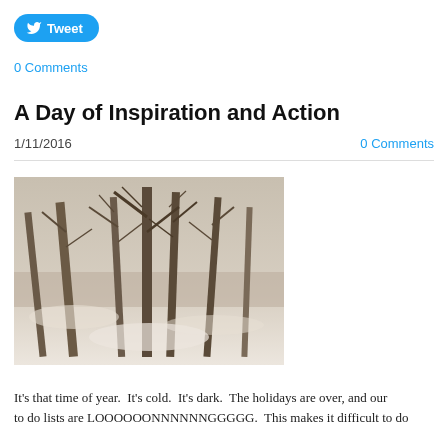[Figure (other): Twitter Tweet button (blue rounded rectangle with bird icon and 'Tweet' text)]
0 Comments
A Day of Inspiration and Action
1/11/2016
0 Comments
[Figure (photo): Winter outdoor photo showing bare trees in a snowy landscape with muted sepia tones]
It's that time of year.  It's cold.  It's dark.  The holidays are over, and our to do lists are LOOOOOONNNNNNGGGGG.  This makes it difficult to do